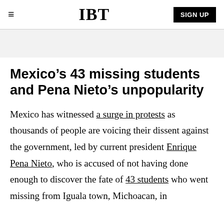IBT | SIGN UP
Mexico’s 43 missing students and Pena Nieto’s unpopularity
Mexico has witnessed a surge in protests as thousands of people are voicing their dissent against the government, led by current president Enrique Pena Nieto, who is accused of not having done enough to discover the fate of 43 students who went missing from Iguala town, Michoacan, in